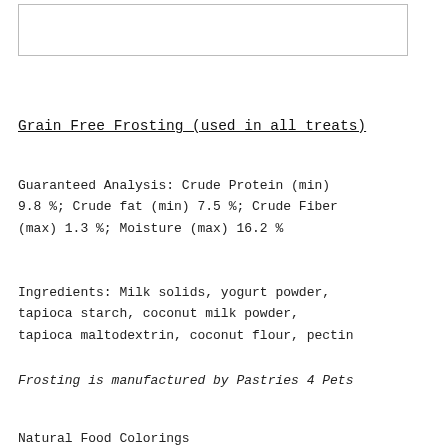[Figure (other): Empty white box with border at top of page]
Grain Free Frosting (used in all treats)
Guaranteed Analysis: Crude Protein (min) 9.8 %; Crude fat (min) 7.5 %; Crude Fiber (max) 1.3 %; Moisture (max) 16.2 %
Ingredients: Milk solids, yogurt powder, tapioca starch, coconut milk powder, tapioca maltodextrin, coconut flour, pectin
Frosting is manufactured by Pastries 4 Pets
Natural Food Colorings